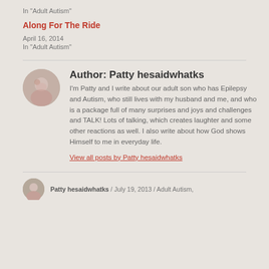In "Adult Autism"
Along For The Ride
April 16, 2014
In "Adult Autism"
Author: Patty hesaidwhatks
I'm Patty and I write about our adult son who has Epilepsy and Autism, who still lives with my husband and me, and who is a package full of many surprises and joys and challenges and TALK! Lots of talking, which creates laughter and some other reactions as well. I also write about how God shows Himself to me in everyday life.
View all posts by Patty hesaidwhatks
Patty hesaidwhatks / July 19, 2013 / Adult Autism,